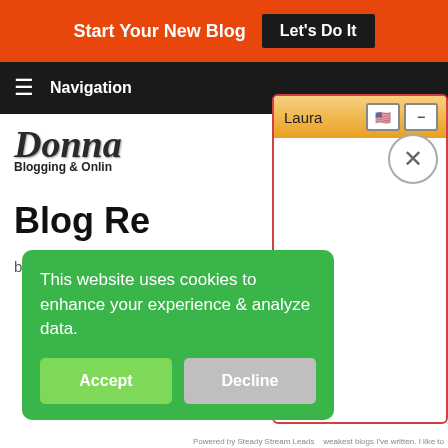Start Your New Blog  Let's Do It
Navigation
[Figure (screenshot): Donna Merrill blog logo with script text 'Donna' and subtitle 'Blogging & Online...']
Blog Re...
by Donna Merrill
[Figure (screenshot): Laura chat popup panel with orange header showing name 'Laura', US flag icon, minimize button, and close X circle button]
This website uses cookies to enhance your experience & analyze data.
Accept   Decline
Powered by Steady Stream Leads   weakest blogs I've written. I like to